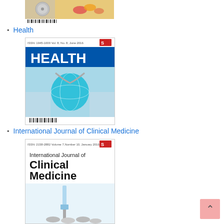[Figure (photo): Bottom portion of a medical journal cover showing stethoscope and pills, with barcode at bottom]
Health
[Figure (photo): Cover of HEALTH journal, Volume 8, No. 8, June 2016, showing globe and doctor hands with stethoscope]
International Journal of Clinical Medicine
[Figure (photo): Cover of International Journal of Clinical Medicine, Volume 7, Number 10, January 2016, showing syringe and pills]